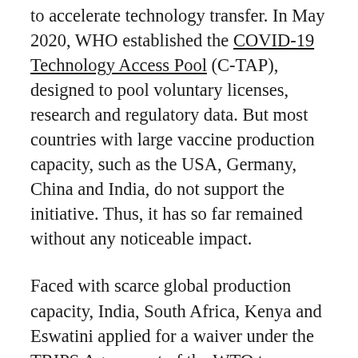to accelerate technology transfer. In May 2020, WHO established the COVID-19 Technology Access Pool (C-TAP), designed to pool voluntary licenses, research and regulatory data. But most countries with large vaccine production capacity, such as the USA, Germany, China and India, do not support the initiative. Thus, it has so far remained without any noticeable impact.
Faced with scarce global production capacity, India, South Africa, Kenya and Eswatini applied for a waiver under the TRIPS Agreement of the WTO to temporarily remove patent protection for COVID-19-related vaccines, medicines and devices.